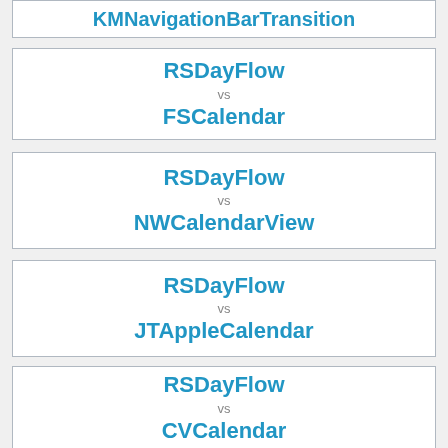KMNavigationBarTransition
RSDayFlow vs FSCalendar
RSDayFlow vs NWCalendarView
RSDayFlow vs JTAppleCalendar
RSDayFlow vs CVCalendar